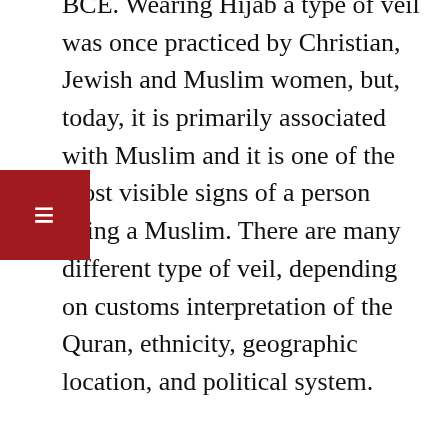BCE. Wearing Hijab a type of veil was once practiced by Christian, Jewish and Muslim women, but, today, it is primarily associated with Muslim and it is one of the most visible signs of a person being a Muslim. There are many different type of veil, depending on customs interpretation of the Quran, ethnicity, geographic location, and political system.
These are the most common types, although the rarest of all is the BURQA. The Hijab is a headscarf that covers the head and upper neck but exposes the face. The Niqub (reserved mostly in Persian Gulf countries) covers the face and head but exposes eye. The Chador (mostly in Iran ) is a